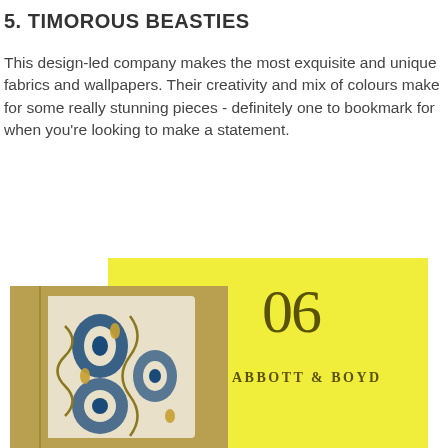5. TIMOROUS BEASTIES
This design-led company makes the most exquisite and unique fabrics and wallpapers. Their creativity and mix of colours make for some really stunning pieces - definitely one to bookmark for when you're looking to make a statement.
[Figure (photo): A yellow background card with the number 06 and text ABBOTT & BOYD, overlapping a photo of decorative ikat-patterned cushions in blue and gold/olive tones on a mustard yellow background.]